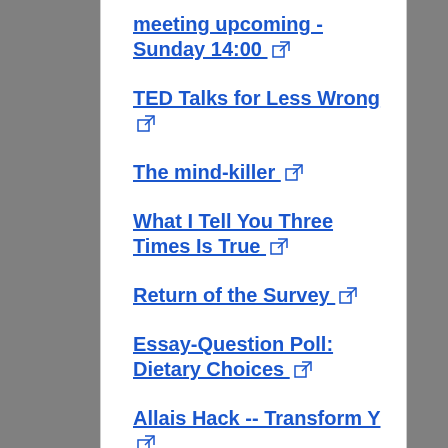meeting upcoming - Sunday 14:00 [external link]
TED Talks for Less Wrong [external link]
The mind-killer [external link]
What I Tell You Three Times Is True [external link]
Return of the Survey [external link]
Essay-Question Poll: Dietary Choices [external link]
Allais Hack -- Transform Y... [external link]